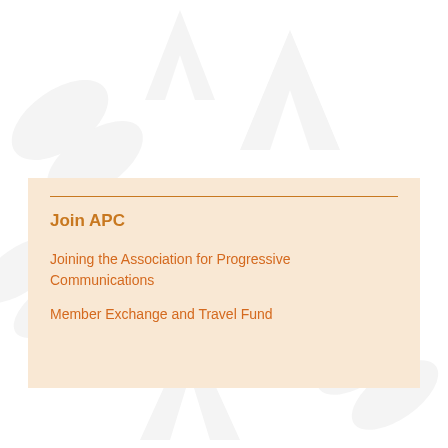[Figure (illustration): Light grey watermark-style background pattern with abstract APC logo shapes (hands/wings) repeated across the page background]
Join APC
Joining the Association for Progressive Communications
Member Exchange and Travel Fund